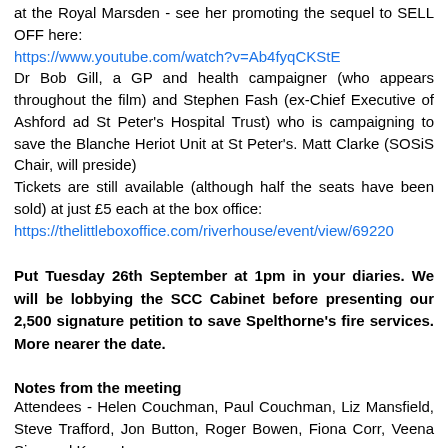at the Royal Marsden - see her promoting the sequel to SELL OFF here:
https://www.youtube.com/watch?v=Ab4fyqCKStE
Dr Bob Gill, a GP and health campaigner (who appears throughout the film) and Stephen Fash (ex-Chief Executive of Ashford ad St Peter's Hospital Trust) who is campaigning to save the Blanche Heriot Unit at St Peter's. Matt Clarke (SOSiS Chair, will preside)
Tickets are still available (although half the seats have been sold) at just £5 each at the box office:
https://thelittleboxoffice.com/riverhouse/event/view/69220
Put Tuesday 26th September at 1pm in your diaries. We will be lobbying the SCC Cabinet before presenting our 2,500 signature petition to save Spelthorne's fire services. More nearer the date.
Notes from the meeting
Attendees - Helen Couchman, Paul Couchman, Liz Mansfield, Steve Trafford, Jon Button, Roger Bowen, Fiona Corr, Veena Siva and Karen Lyons.